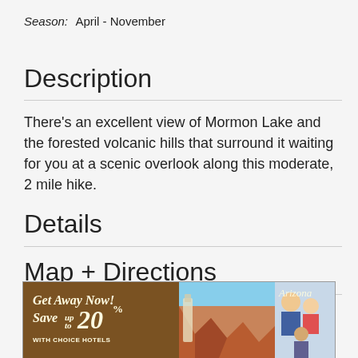Season: April - November
Description
There's an excellent view of Mormon Lake and the forested volcanic hills that surround it waiting for you at a scenic overlook along this moderate, 2 mile hike.
Details
Map + Directions
Go-Arizona
[Figure (photo): Advertisement banner: Get Away Now! Save up to 20% with Choice Hotels — Arizona travel advertisement featuring canyon landscape and family photos]